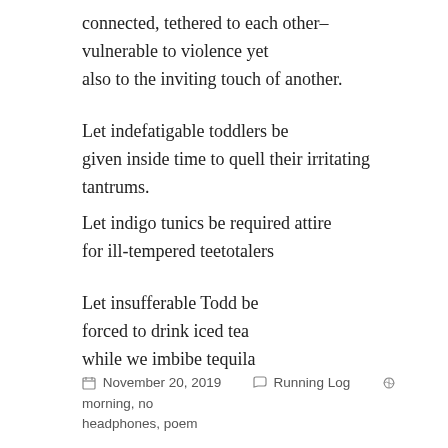connected, tethered to each other–
vulnerable to violence yet
also to the inviting touch of another.
Let indefatigable toddlers be
given inside time to quell their irritating tantrums.
Let indigo tunics be required attire
for ill-tempered teetotalers
Let insufferable Todd be
forced to drink iced tea
while we imbibe tequila
November 20, 2019   Running Log   morning, no headphones, poem